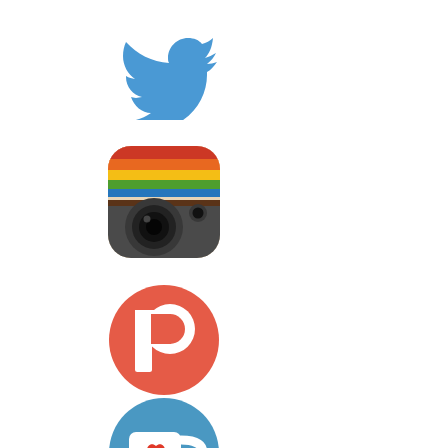[Figure (logo): Twitter bird logo in blue]
[Figure (logo): Instagram camera logo with rounded square, rainbow stripe, brown background]
[Figure (logo): Patreon logo - red/orange circle with white P shape]
[Figure (logo): Ko-fi logo - blue circle with white coffee cup and red heart]
[Figure (logo): Facebook logo - dark blue circle with white lowercase f]